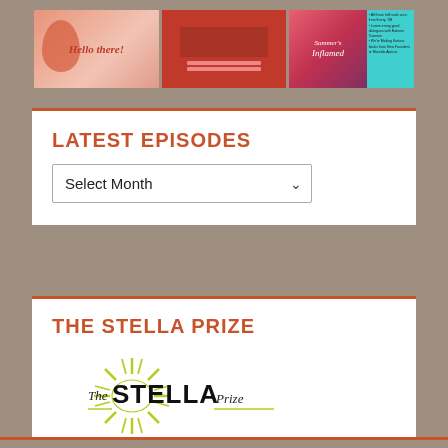[Figure (photo): Three thumbnail images side by side: a pink 'Hello there!' graphic, a red/dark red card design, and a colorful book cover 'Summer's Inflamed' on teal background with text overlay]
LATEST EPISODES
[Figure (screenshot): A dropdown selector labeled 'Select Month' with a down arrow]
THE STELLA PRIZE
[Figure (logo): The Stella Prize logo: starburst rays in yellow-green with bold black text 'The STELLA Prize']